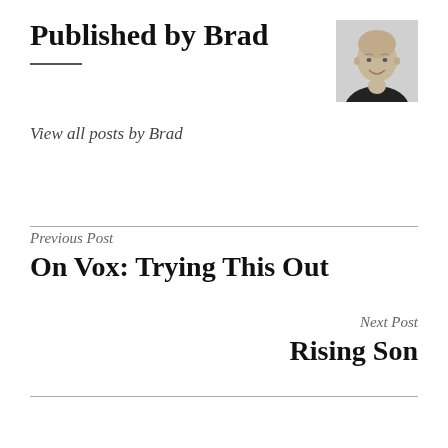Published by Brad
[Figure (photo): Black and white headshot photo of a bald smiling man]
View all posts by Brad
Previous Post
On Vox: Trying This Out
Next Post
Rising Son